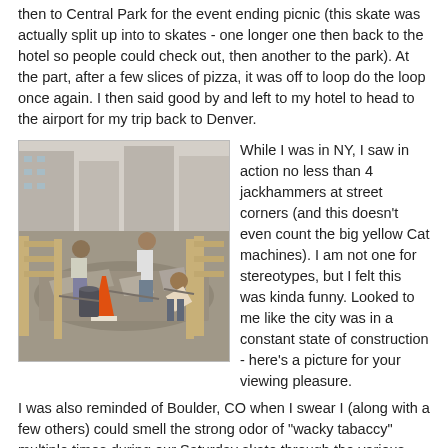then to Central Park for the event ending picnic (this skate was actually split up into to skates - one longer one then back to the hotel so people could check out, then another to the park). At the part, after a few slices of pizza, it was off to loop do the loop once again. I then said good by and left to my hotel to head to the airport for my trip back to Denver.
[Figure (photo): Street construction scene in New York City showing workers with jackhammers, rubble, wooden barriers, and an orange traffic cone on a city sidewalk.]
While I was in NY, I saw in action no less than 4 jackhammers at street corners (and this doesn't even count the big yellow Cat machines). I am not one for stereotypes, but I felt this was kinda funny. Looked to me like the city was in a constant state of construction - here's a picture for your viewing pleasure.
I was also reminded of Boulder, CO when I swear I (along with a few others) could smell the strong odor of "wacky tabaccy" multiple times during our Saturday skate through the various parts of the city. (I don't think anyone in our group